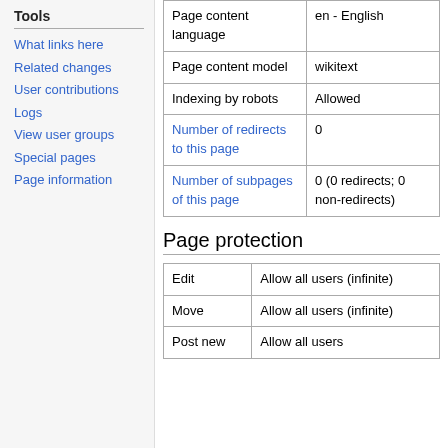Tools
What links here
Related changes
User contributions
Logs
View user groups
Special pages
Page information
| Property | Value |
| --- | --- |
| Page content language | en - English |
| Page content model | wikitext |
| Indexing by robots | Allowed |
| Number of redirects to this page | 0 |
| Number of subpages of this page | 0 (0 redirects; 0 non-redirects) |
Page protection
| Action | Permission |
| --- | --- |
| Edit | Allow all users (infinite) |
| Move | Allow all users (infinite) |
| Post new | Allow all users |